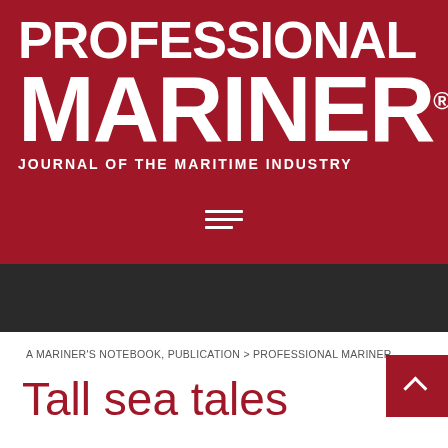[Figure (logo): Professional Mariner magazine logo: large bold white text 'PROFESSIONAL MARINER' with registered trademark symbol, subtitle 'JOURNAL OF THE MARITIME INDUSTRY', on dark red background with hamburger menu icon below]
A MARINER'S NOTEBOOK, PUBLICATION > PROFESSIONAL MARINER
Tall sea tales